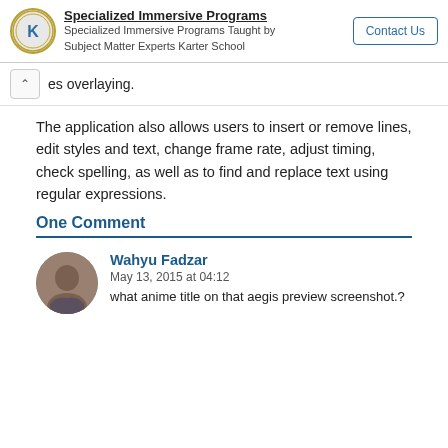[Figure (screenshot): Karter School banner ad with logo, title 'Specialized Immersive Programs', subtitle text, and Contact Us button]
es overlaying.
The application also allows users to insert or remove lines, edit styles and text, change frame rate, adjust timing, check spelling, as well as to find and replace text using regular expressions.
One Comment
Wahyu Fadzar
May 13, 2015 at 04:12
what anime title on that aegis preview screenshot.?